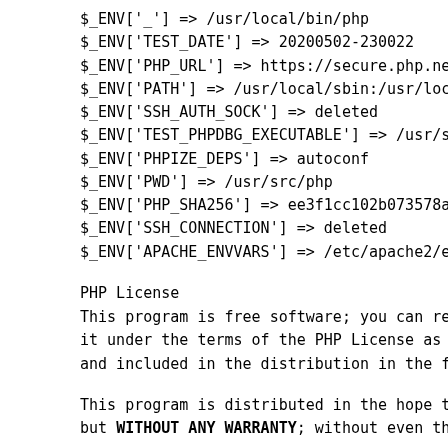$_ENV['_'] => /usr/local/bin/php
$_ENV['TEST_DATE'] => 20200502-230022
$_ENV['PHP_URL'] => https://secure.php.net/
$_ENV['PATH'] => /usr/local/sbin:/usr/local
$_ENV['SSH_AUTH_SOCK'] => deleted
$_ENV['TEST_PHPDBG_EXECUTABLE'] => /usr/src
$_ENV['PHPIZE_DEPS'] => autoconf
$_ENV['PWD'] => /usr/src/php
$_ENV['PHP_SHA256'] => ee3f1cc102b073578a3c
$_ENV['SSH_CONNECTION'] => deleted
$_ENV['APACHE_ENVVARS'] => /etc/apache2/env
PHP License
This program is free software; you can redi it under the terms of the PHP License as pu and included in the distribution in the fil
This program is distributed in the hope tha but WITHOUT ANY WARRANTY; without even the